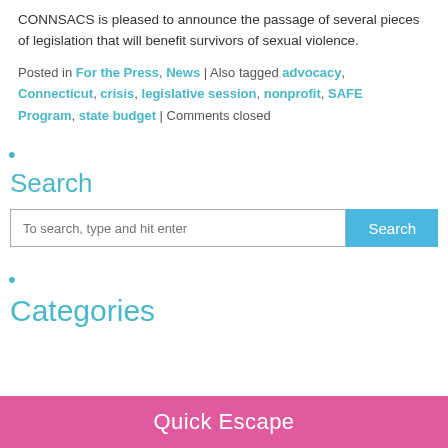CONNSACS is pleased to announce the passage of several pieces of legislation that will benefit survivors of sexual violence.
Posted in For the Press, News | Also tagged advocacy, Connecticut, crisis, legislative session, nonprofit, SAFE Program, state budget | Comments closed
•
Search
To search, type and hit enter [Search button]
•
Categories
Quick Escape